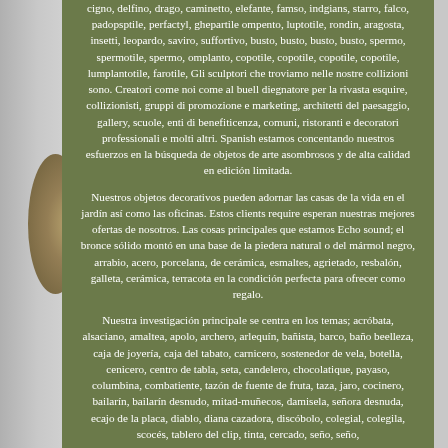cigno, delfino, drago, caminetto, elefante, famso, indgians, starro, falco, padopsptile, perfactyl, ghepartile ompento, luptotile, rondin, aragosta, insetti, leopardo, saviro, suffortivo, busto, busto, busto, busto, spermo, spermotile, spermo, omplanto, copotile, copotile, copotile, copotile, lumplantotile, farotile, Gli sculptori che troviamo nelle nostre collizioni sono. Creatori come noi come al buell diegnatore per la rivasta esquire, collizionisti, gruppi di promozione e marketing, architetti del paesaggio, gallery, scuole, enti di benefiticenza, comuni, ristoranti e decoratori professionali e molti altri. Spanish estamos concentando nuestros esfuerzos en la búsqueda de objetos de arte asombrosos y de alta calidad en edición limitada.
Nuestros objetos decorativos pueden adornar las casas de la vida en el jardín así como las oficinas. Estos clients require esperan nuestras mejores ofertas de nosotros. Las cosas principales que estamos Echo sound; el bronce sólido montó en una base de la piedera natural o del mármol negro, arrabio, acero, porcelana, de cerámica, esmaltes, agrietado, resbalón, galleta, cerámica, terracota en la condición perfecta para ofrecer como regalo.
Nuestra investigación principale se centra en los temas; acróbata, alsaciano, amaltea, apolo, archero, arlequín, bañista, barco, baño beelleza, caja de joyería, caja del tabato, carnicero, sostenedor de vela, botella, cenicero, centro de tabla, seta, candelero, chocolatique, payaso, columbina, combatiente, tazón de fuente de fruta, taza, jaro, cocinero, bailarín, bailarín desnudo, mitad-muñecos, damisela, señora desnuda, ecajo de la placa, diablo, diana cazadora, discóbolo, colegial, colegila, scocés, tablero del clip, tinta, cercado, seño, seño,